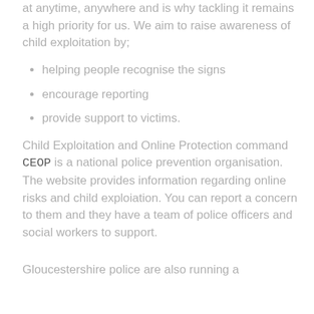at anytime, anywhere and is why tackling it remains a high priority for us. We aim to raise awareness of child exploitation by;
helping people recognise the signs
encourage reporting
provide support to victims.
Child Exploitation and Online Protection command CEOP is a national police prevention organisation. The website provides information regarding online risks and child exploiation. You can report a concern to them and they have a team of police officers and social workers to support.
Gloucestershire police are also running a